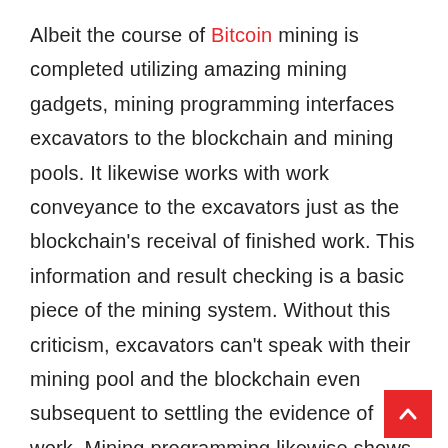Albeit the course of Bitcoin mining is completed utilizing amazing mining gadgets, mining programming interfaces excavators to the blockchain and mining pools. It likewise works with work conveyance to the excavators just as the blockchain's receival of finished work. This information and result checking is a basic piece of the mining system. Without this criticism, excavators can't speak with their mining pool and the blockchain even subsequent to settling the evidence of work. Mining programming likewise shows measurements, for example, fan speed, hash rate, temperature, and digger normal speed. While there is a few superb Bitcoin mining programming accessible, BFGMiner is viewed as truly